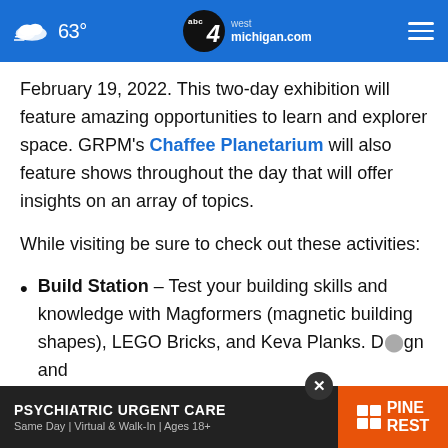63° | abc4 west michigan.com
February 19, 2022. This two-day exhibition will feature amazing opportunities to learn and explorer space. GRPM's Chaffee Planetarium will also feature shows throughout the day that will offer insights on an array of topics.
While visiting be sure to check out these activities:
Build Station – Test your building skills and knowledge with Magformers (magnetic building shapes), LEGO Bricks, and Keva Planks. Design and build... something else you...
[Figure (screenshot): Pine Rest Psychiatric Urgent Care advertisement banner at the bottom of the page with orange logo area]